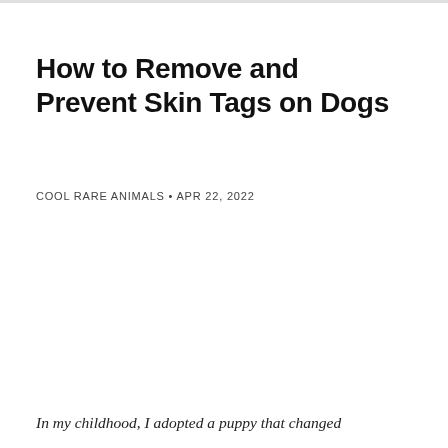How to Remove and Prevent Skin Tags on Dogs
COOL RARE ANIMALS • APR 22, 2022
In my childhood, I adopted a puppy that changed